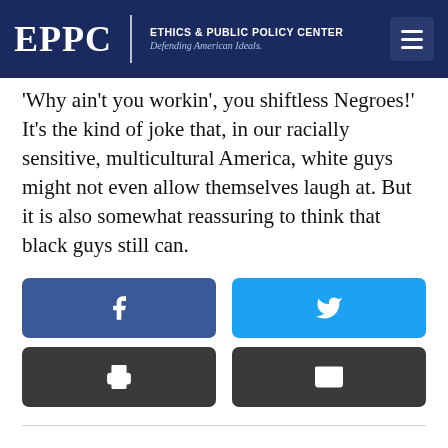EPPC | ETHICS & PUBLIC POLICY CENTER Defending American Ideals.
'Why ain't you workin', you shiftless Negroes!' It's the kind of joke that, in our racially sensitive, multicultural America, white guys might not even allow themselves laugh at. But it is also somewhat reassuring to think that black guys still can.
[Figure (infographic): Social sharing buttons: Facebook (blue), Twitter (cyan), Print (dark gray), Email (dark gray)]